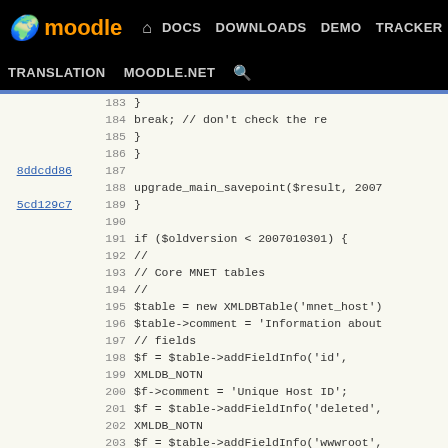Moodle Dev - DOCS DOWNLOADS DEMO TRACKER DEV | TRANSLATION MOODLE.NET
[Figure (screenshot): Moodle developer site navigation bar with logo and menu links: DOCS, DOWNLOADS, DEMO, TRACKER, DEV (active/highlighted), TRANSLATION, MOODLE.NET, search icon]
Code viewer showing lines 183-209 of a PHP upgrade script with git commit hashes (8ddcdd86, 5cd129c7, a54d16ef, 5cd129c7, a54d16ef, 5cd129c7, a54d16ef, a57f09fc) and code including break statement, upgrade_main_savepoint call, if condition for $oldversion < 2007010301, Core MNET tables setup, XMLDBTable and addFieldInfo calls